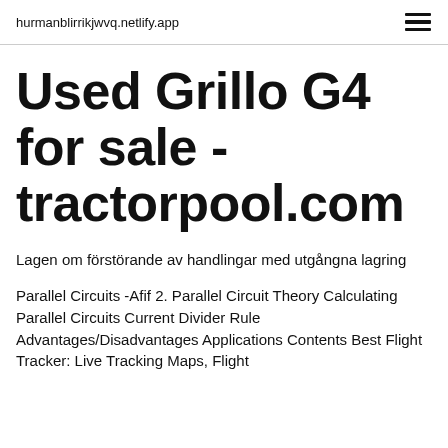hurmanblirrikjwvq.netlify.app
Used Grillo G4 for sale - tractorpool.com
Lagen om förstörande av handlingar med utgångna lagring
Parallel Circuits -Afif 2. Parallel Circuit Theory Calculating Parallel Circuits Current Divider Rule Advantages/Disadvantages Applications Contents Best Flight Tracker: Live Tracking Maps, Flight